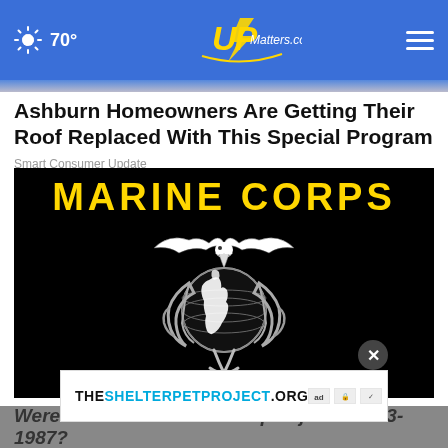70° UPMatters.com
Ashburn Homeowners Are Getting Their Roof Replaced With This Special Program
Smart Consumer Update
[Figure (illustration): Marine Corps emblem (Eagle, Globe, and Anchor) in black and white on black background with gold 'MARINE CORPS' text at top]
Were You Stationed at Camp Lejeune 1953-1987?